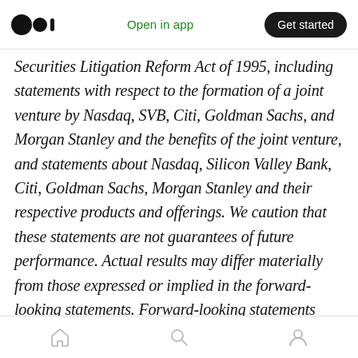Medium app header — logo, Open in app, Get started
Securities Litigation Reform Act of 1995, including statements with respect to the formation of a joint venture by Nasdaq, SVB, Citi, Goldman Sachs, and Morgan Stanley and the benefits of the joint venture, and statements about Nasdaq, Silicon Valley Bank, Citi, Goldman Sachs, Morgan Stanley and their respective products and offerings. We caution that these statements are not guarantees of future performance. Actual results may differ materially from those expressed or implied in the forward-looking statements. Forward-looking statements involve a number of risks, uncertainties or other
Home, Search, Profile navigation icons